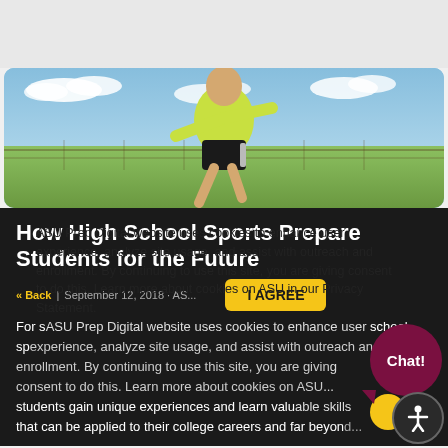[Figure (photo): A student athlete in yellow jersey jumping or running near a sports net/fence with blue sky and green field in background]
How High School Sports Prepare Students for the Future
« Back | September 12, 2018 · ASU...
I AGREE
ASU Prep Digital website uses cookies to enhance user experience, analyze site usage, and assist with outreach and enrollment. By continuing to use this site, you are giving consent to do this. Learn more about cookies on ASU in our Privacy Statement.
For students nearing graduation, a focus on high school sports can help students gain unique experiences and learn valuable skills that can be applied to their college careers and far beyond...